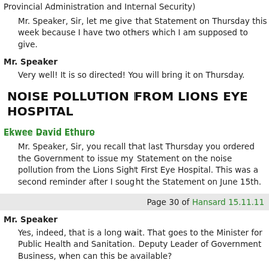Provincial Administration and Internal Security)
Mr. Speaker, Sir, let me give that Statement on Thursday this week because I have two others which I am supposed to give.
Mr. Speaker
Very well! It is so directed! You will bring it on Thursday.
NOISE POLLUTION FROM LIONS EYE HOSPITAL
Ekwee David Ethuro
Mr. Speaker, Sir, you recall that last Thursday you ordered the Government to issue my Statement on the noise pollution from the Lions Sight First Eye Hospital. This was a second reminder after I sought the Statement on June 15th.
Page 30 of Hansard 15.11.11
Mr. Speaker
Yes, indeed, that is a long wait. That goes to the Minister for Public Health and Sanitation. Deputy Leader of Government Business, when can this be available?
Amos Kimunya (The Minister for Transport)
Mr. Speaker, Sir, we can try for Wednesday morning next week